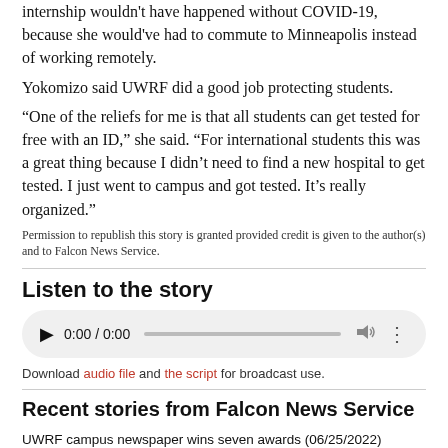internship wouldn't have happened without COVID-19, because she would've had to commute to Minneapolis instead of working remotely.
Yokomizo said UWRF did a good job protecting students.
“One of the reliefs for me is that all students can get tested for free with an ID,” she said. “For international students this was a great thing because I didn’t need to find a new hospital to get tested. I just went to campus and got tested. It’s really organized.”
Permission to republish this story is granted provided credit is given to the author(s) and to Falcon News Service.
Listen to the story
[Figure (other): Audio player widget showing 0:00 / 0:00 with play button, progress bar, volume icon, and options dots]
Download audio file and the script for broadcast use.
Recent stories from Falcon News Service
UWRF campus newspaper wins seven awards (06/25/2022)
Latest census shows western Wisconsin still growing (06/13/2022)
UWRF sees more students with mental health concerns (05/15/2022) 🔊